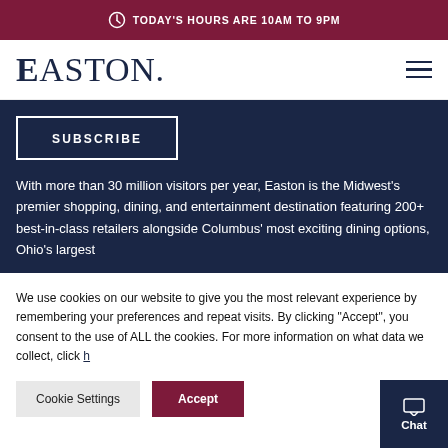TODAY'S HOURS ARE 10AM TO 9PM
[Figure (logo): Easton logo - serif text reading 'EASTON.' with hamburger menu icon on right]
SUBSCRIBE
With more than 30 million visitors per year, Easton is the Midwest's premier shopping, dining, and entertainment destination featuring 200+ best-in-class retailers alongside Columbus' most exciting dining options, Ohio's largest
We use cookies on our website to give you the most relevant experience by remembering your preferences and repeat visits. By clicking "Accept", you consent to the use of ALL the cookies. For more information on what data we collect, click h
Cookie Settings
Accept